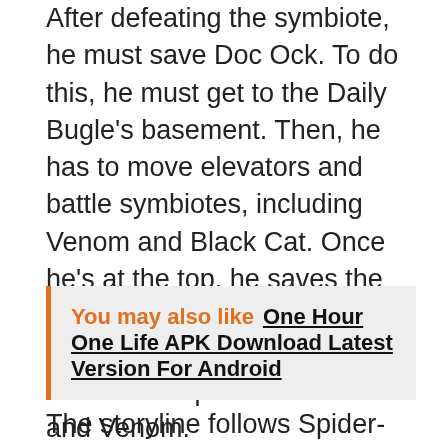After defeating the symbiote, he must save Doc Ock. To do this, he must get to the Daily Bugle's basement. Then, he has to move elevators and battle symbiotes, including Venom and Black Cat. Once he's at the top, he saves the two survivors. Spider-Man also rescues the body of Doc Ock and meets up with Black Cat and Venom.
You may also like  One Hour One Life APK Download Latest Version For Android
The storyline follows Spider-Man's adventures in the Marvel universe. He meets Venom, the